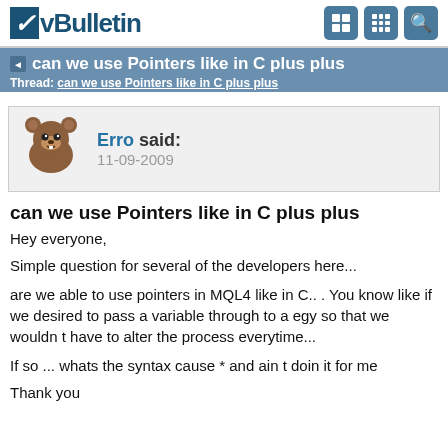vBulletin
can we use Pointers like in C plus plus
Thread: can we use Pointers like in C plus plus
[Figure (illustration): Forum user avatar: cartoon bear (pedobear meme)]
Erro said:
11-09-2009
can we use Pointers like in C plus plus
Hey everyone,
Simple question for several of the developers here...
are we able to use pointers in MQL4 like in C.. . You know like if we desired to pass a variable through to a egy so that we wouldn t have to alter the process everytime...
If so ... whats the syntax cause * and ain t doin it for me
Thank you